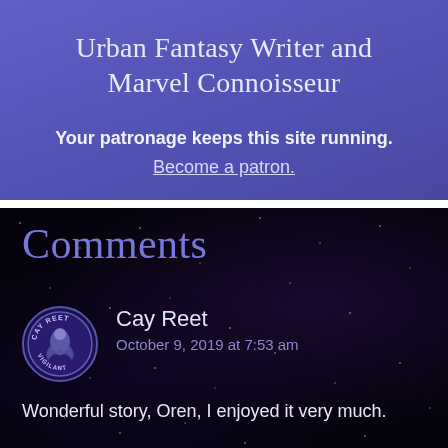Urban Fantasy Writer and Marvel Connoisseur
Your patronage keeps this site running. Become a patron.
Comments
Cay Reet
October 9, 2019 at 7:53 am
Wonderful story, Oren, I enjoyed it very much.